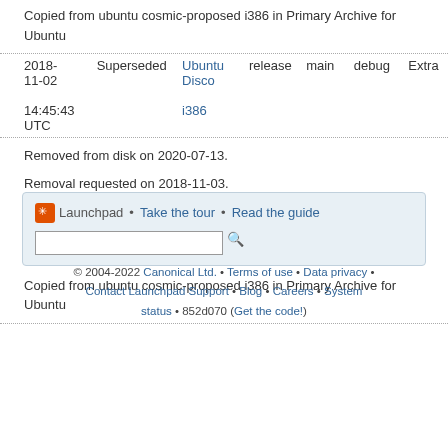Copied from ubuntu cosmic-proposed i386 in Primary Archive for Ubuntu
| Date | Status | Distro | Type | Section | Component | Priority |
| --- | --- | --- | --- | --- | --- | --- |
| 2018-11-02 14:45:43 UTC | Superseded | Ubuntu Disco i386 | release | main | debug | Extra |
Removed from disk on 2020-07-13.
Removal requested on 2018-11-03.
Superseded on 2018-11-02 by i386 build of python3-defaults 3.7.1-1 in ubunt…
Published on 2018-10-30
Copied from ubuntu cosmic-proposed i386 in Primary Archive for Ubuntu
Launchpad • Take the tour • Read the guide
© 2004-2022 Canonical Ltd. • Terms of use • Data privacy • Contact Launchpad Support • Blog • Careers • System status • 852d070 (Get the code!)